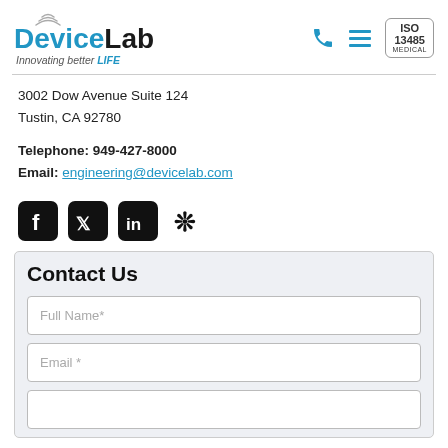[Figure (logo): DeviceLab logo with wifi symbol above 'D', tagline 'Innovating better LIFE']
3002 Dow Avenue Suite 124
Tustin, CA 92780
Telephone: 949-427-8000
Email: engineering@devicelab.com
[Figure (other): Social media icons: Facebook, Twitter, LinkedIn, Yelp]
Contact Us
Full Name*
Email *